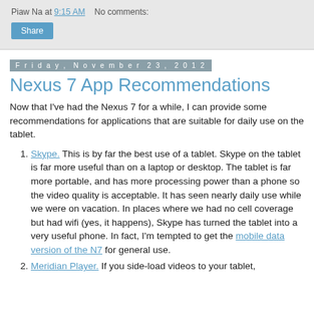Piaw Na at 9:15 AM   No comments:
Share
Friday, November 23, 2012
Nexus 7 App Recommendations
Now that I've had the Nexus 7 for a while, I can provide some recommendations for applications that are suitable for daily use on the tablet.
Skype. This is by far the best use of a tablet. Skype on the tablet is far more useful than on a laptop or desktop. The tablet is far more portable, and has more processing power than a phone so the video quality is acceptable. It has seen nearly daily use while we were on vacation. In places where we had no cell coverage but had wifi (yes, it happens), Skype has turned the tablet into a very useful phone. In fact, I'm tempted to get the mobile data version of the N7 for general use.
Meridian Player. If you side-load videos to your tablet,